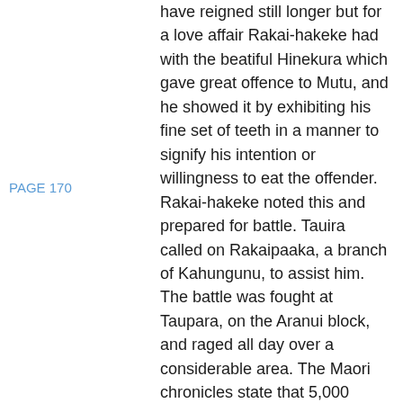PAGE 170
have reigned still longer but for a love affair Rakai-hakeke had with the beatiful Hinekura which gave great offence to Mutu, and he showed it by exhibiting his fine set of teeth in a manner to signify his intention or willingness to eat the offender. Rakai-hakeke noted this and prepared for battle. Tauira called on Rakaipaaka, a branch of Kahungunu, to assist him. The battle was fought at Taupara, on the Aranui block, and raged all day over a considerable area. The Maori chronicles state that 5,000 were killed that day, but it was Tauira that lost in the game of war and from then the sovereignty passed from Tauira to Kahungunu, though there are still some Tauira left in line of descent from Hinekura. But it was not to describe this I started out, but to detail the coming of